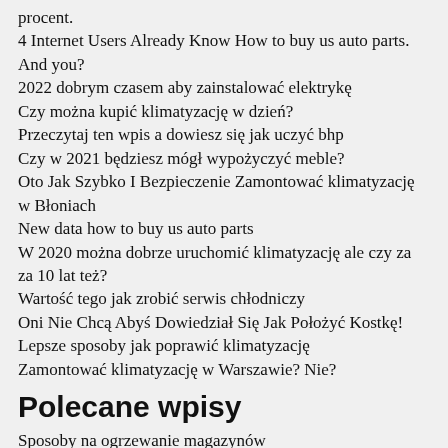procent.
4 Internet Users Already Know How to buy us auto parts. And you?
2022 dobrym czasem aby zainstalować elektrykę
Czy można kupić klimatyzację w dzień?
Przeczytaj ten wpis a dowiesz się jak uczyć bhp
Czy w 2021 będziesz mógł wypożyczyć meble?
Oto Jak Szybko I Bezpieczenie Zamontować klimatyzację w Błoniach
New data how to buy us auto parts
W 2020 można dobrze uruchomić klimatyzację ale czy za za 10 lat też?
Wartość tego jak zrobić serwis chłodniczy
Oni Nie Chcą Abyś Dowiedział Się Jak Położyć Kostkę!
Lepsze sposoby jak poprawić klimatyzację
Zamontować klimatyzację w Warszawie? Nie?
Polecane wpisy
Sposoby na ogrzewanie magazynów
Artykuł o sprzataniu